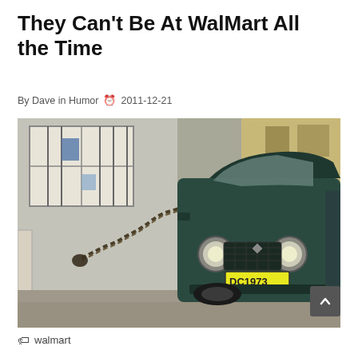They Can't Be At WalMart All the Time
By Dave in Humor   2011-12-21
[Figure (photo): A dark green vintage Renault 4 SUV/truck is chained to the wall of a building with a heavy metal chain. The vehicle has a yellow license plate reading something like DC1973. The building has white stucco walls and a barred window. The scene appears to be a courtyard or driveway.]
walmart